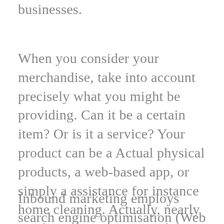businesses.
When you consider your merchandise, take into account precisely what you might be providing. Can it be a certain item? Or is it a service? Your product can be a Actual physical products, a web-based app, or simply a assistance for instance home cleaning. Actually, nearly anything that you are marketing will be the item.
Inbound marketing employs search engine optimisation (Web